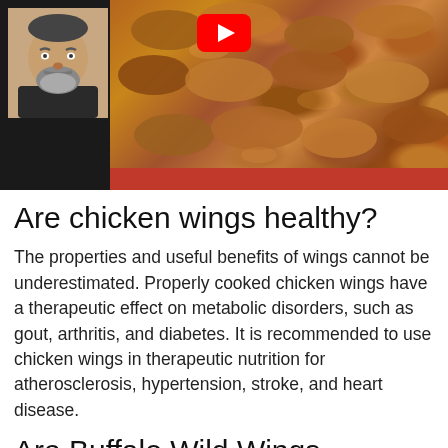[Figure (screenshot): YouTube video thumbnail showing a man's avatar/profile photo on the left and a tray of baked chicken wings on the right, with a red YouTube play button overlay in the top center, and a red strip at the bottom.]
Are chicken wings healthy?
The properties and useful benefits of wings cannot be underestimated. Properly cooked chicken wings have a therapeutic effect on metabolic disorders, such as gout, arthritis, and diabetes. It is recommended to use chicken wings in therapeutic nutrition for atherosclerosis, hypertension, stroke, and heart disease.
Are Buffalo Wild Wings